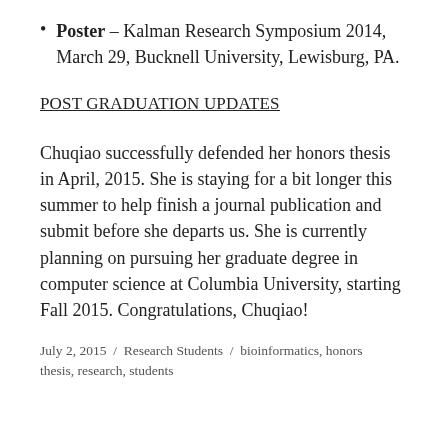Poster – Kalman Research Symposium 2014, March 29, Bucknell University, Lewisburg, PA.
POST GRADUATION UPDATES
Chuqiao successfully defended her honors thesis in April, 2015. She is staying for a bit longer this summer to help finish a journal publication and submit before she departs us. She is currently planning on pursuing her graduate degree in computer science at Columbia University, starting Fall 2015. Congratulations, Chuqiao!
July 2, 2015  /  Research Students  /  bioinformatics, honors thesis, research, students